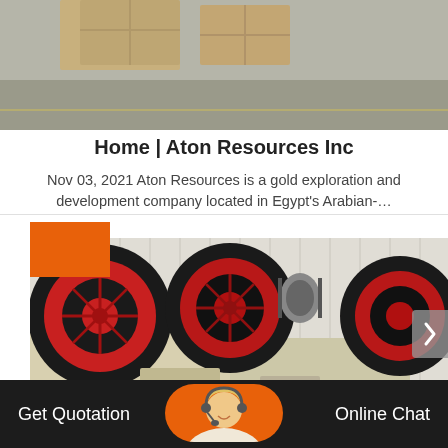[Figure (photo): Top portion of a warehouse/industrial setting with wooden crates or equipment visible on a grey floor.]
Home | Aton Resources Inc
Nov 03, 2021 Aton Resources is a gold exploration and development company located in Egypt's Arabian-…
[Figure (photo): Industrial jaw crusher machinery with large black and red flywheel wheels on a factory floor.]
Get Quotation
Online Chat